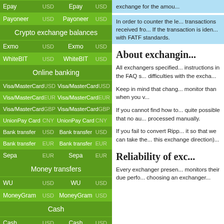| Epay | USD | Epay | USD |
| Payoneer | USD | Payoneer | USD |
| Crypto exchange balances |  |  |  |
| Exmo | USD | Exmo | USD |
| WhiteBIT | USD | WhiteBIT | USD |
| Online banking |  |  |  |
| Visa/MasterCard | USD | Visa/MasterCard | USD |
| Visa/MasterCard | EUR | Visa/MasterCard | EUR |
| Visa/MasterCard | GBP | Visa/MasterCard | GBP |
| UnionPay Card | CNY | UnionPay Card | CNY |
| Bank transfer | USD | Bank transfer | USD |
| Bank transfer | EUR | Bank transfer | EUR |
| Sepa | EUR | Sepa | EUR |
| Money transfers |  |  |  |
| WU | USD | WU | USD |
| MoneyGram | USD | MoneyGram | USD |
| Cash |  |  |  |
| Cash | USD | Cash | USD |
| Cash | EUR | Cash | EUR |
exchange for the amou...
In order to counter the le... transactions received fro... If the transaction is iden... with FATF standards.
About exchangin...
All exchangers specified... instructions in the FAQ s... difficulties with the excha...
Keep in mind that chang... monitor than when you v...
If you cannot find how to... quite possible that no au... processed manually.
If you fail to convert Ripp... it so that we can take the... this exchange direction)...
Reliability of exc...
Every exchanger presen... monitors their due perfo... choosing an exchanger...